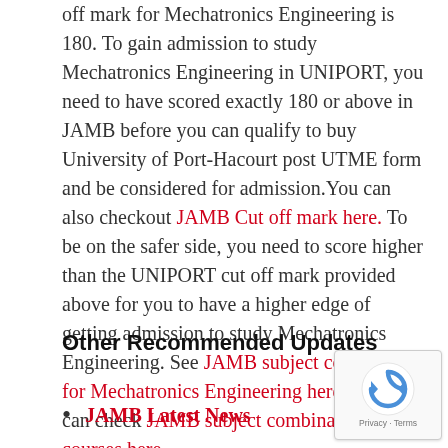off mark for Mechatronics Engineering is 180. To gain admission to study Mechatronics Engineering in UNIPORT, you need to have scored exactly 180 or above in JAMB before you can qualify to buy University of Port-Hacourt post UTME form and be considered for admission.You can also checkout JAMB Cut off mark here. To be on the safer side, you need to score higher than the UNIPORT cut off mark provided above for you to have a higher edge of getting admission to study Mechatronics Engineering. See JAMB subject combination for Mechatronics Engineering here or you can check JAMB subject combination for all courses here.
Other Recommended Updates
JAMB Latest News